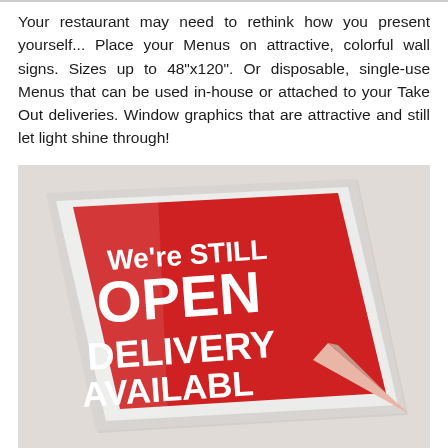Your restaurant may need to rethink how you present yourself... Place your Menus on attractive, colorful wall signs. Sizes up to 48"x120". Or disposable, single-use Menus that can be used in-house or attached to your Take Out deliveries. Window graphics that are attractive and still let light shine through!
[Figure (photo): A red promotional sign on a glossy acrylic or glass holder with white bold text reading 'We're STILL OPEN DELIVERY AVAILABLE', with the bottom-right corner of the sign peeling up.]